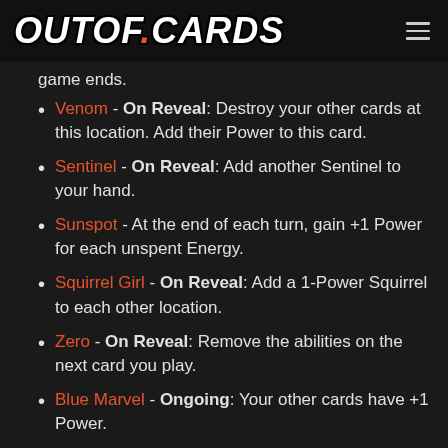OUTOF.CARDS
game ends.
Venom - On Reveal: Destroy your other cards at this location. Add their Power to this card.
Sentinel - On Reveal: Add another Sentinel to your hand.
Sunspot - At the end of each turn, gain +1 Power for each unspent Energy.
Squirrel Girl - On Reveal: Add a 1-Power Squirrel to each other location.
Zero - On Reveal: Remove the abilities on the next card you play.
Blue Marvel - Ongoing: Your other cards have +1 Power.
Dagger - When this moves to a location, +2